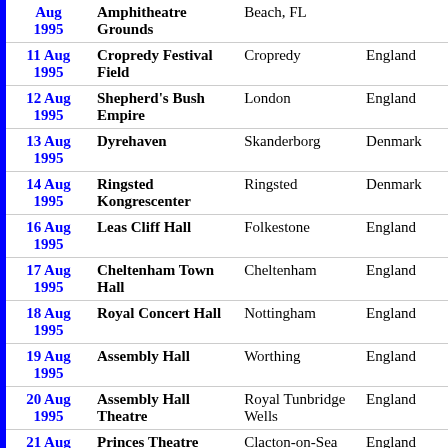| Date | Venue | City | Country |
| --- | --- | --- | --- |
| Aug 1995 | Amphitheatre Grounds | Beach, FL |  |
| 11 Aug 1995 | Cropredy Festival Field | Cropredy | England |
| 12 Aug 1995 | Shepherd's Bush Empire | London | England |
| 13 Aug 1995 | Dyrehaven | Skanderborg | Denmark |
| 14 Aug 1995 | Ringsted Kongrescenter | Ringsted | Denmark |
| 16 Aug 1995 | Leas Cliff Hall | Folkestone | England |
| 17 Aug 1995 | Cheltenham Town Hall | Cheltenham | England |
| 18 Aug 1995 | Royal Concert Hall | Nottingham | England |
| 19 Aug 1995 | Assembly Hall | Worthing | England |
| 20 Aug 1995 | Assembly Hall Theatre | Royal Tunbridge Wells | England |
| 21 Aug 1995 | Princes Theatre | Clacton-on-Sea | England |
| 08 Feb 1996 | Barbican Centre | London | England |